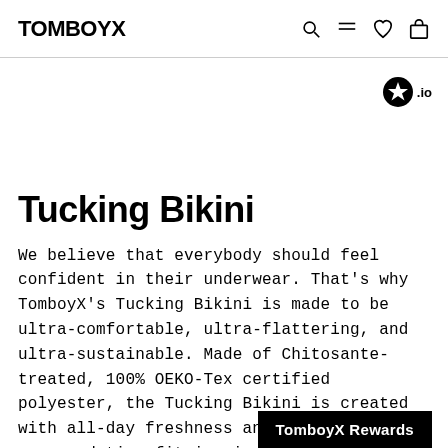TOMBOY X
Tucking Bikini
We believe that everybody should feel confident in their underwear. That's why TomboyX's Tucking Bikini is made to be ultra-comfortable, ultra-flattering, and ultra-sustainable. Made of Chitosante-treated, 100% OEKO-Tex certified polyester, the Tucking Bikini is created with all-day freshness and an accommodating fit in mind.Still got questions?
TomboyX Rewards